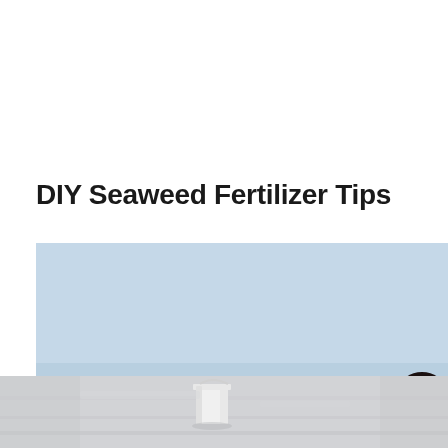DIY Seaweed Fertilizer Tips
[Figure (photo): People collecting seaweed on a rocky beach shoreline. A man in a grey shirt and dark pants stands with back to camera on the left. A person in a blue jacket bends near the water in the middle background. A woman in a yellow sun hat and white vest bends to pick up green seaweed from the water's edge. A person in dark clothing stands on the far right. The water is calm and blue, reflecting sunlight. Rocky shoreline with seaweed visible.]
[Figure (photo): Lower portion showing continuation of beach scene — light grey/white sandy or pebbly beach area with a white bucket visible in the middle.]